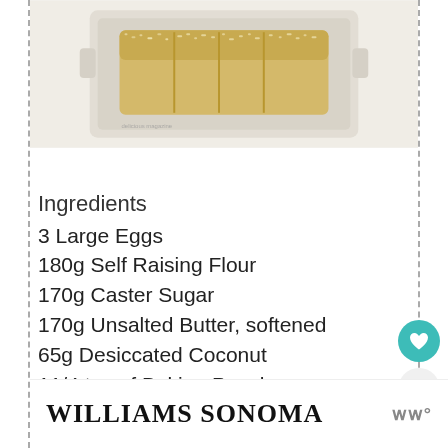[Figure (photo): A sliced coconut loaf cake on a white baking tray, topped with desiccated coconut, viewed from above. The cake is sliced into several pieces.]
Ingredients
3 Large Eggs
180g Self Raising Flour
170g Caster Sugar
170g Unsalted Butter, softened
65g Desiccated Coconut
11/4 tsp of Baking Powder
1 Tsp Milk
[Figure (logo): Williams Sonoma advertisement banner at the bottom of the page]